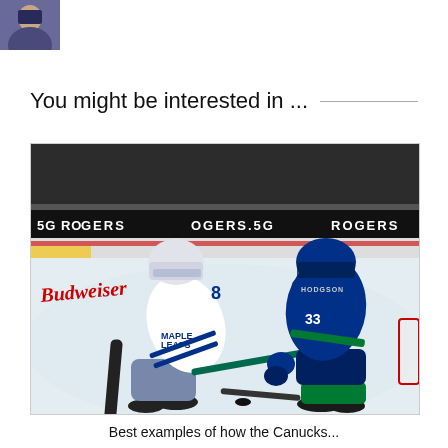[Figure (photo): Small avatar/profile photo in the top-left corner showing a person with dark hair]
You might be interested in ...
[Figure (photo): Hockey action photo: a Toronto Maple Leafs player in white jersey (#8) battles for the puck against a Vancouver Canucks player in blue/green jersey (#33, HODGSON) on the ice. Rogers 5G and Budweiser branding visible on the boards in the background.]
Best examples of how the Canucks...